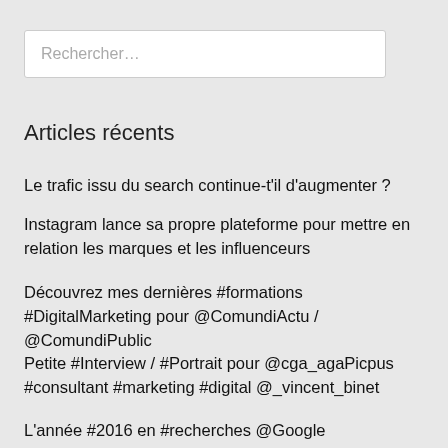Rechercher…
Articles récents
Le trafic issu du search continue-t'il d'augmenter ?
Instagram lance sa propre plateforme pour mettre en relation les marques et les influenceurs
Découvrez mes dernières #formations #DigitalMarketing pour @ComundiActu / @ComundiPublic
Petite #Interview / #Portrait pour @cga_agaPicpus #consultant #marketing #digital @_vincent_binet
L'année #2016 en #recherches @Google